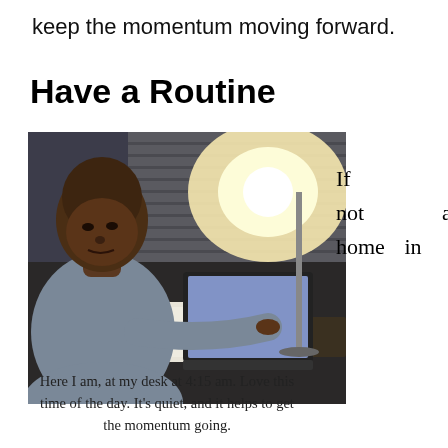keep the momentum moving forward.
Have a Routine
[Figure (photo): A bald Black man at a desk, looking over his shoulder at the camera, with papers and a laptop open in front of him and a bright lamp behind. The room is dimly lit.]
If      I'm not    at home in
Here I am, at my desk at 4:15 am. Love this time of the day. It's quiet, and it helps to get the momentum going.